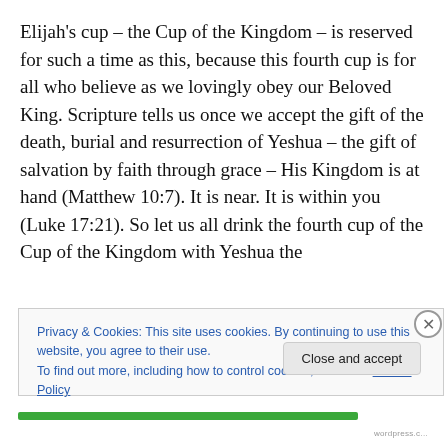Elijah's cup – the Cup of the Kingdom – is reserved for such a time as this, because this fourth cup is for all who believe as we lovingly obey our Beloved King. Scripture tells us once we accept the gift of the death, burial and resurrection of Yeshua – the gift of salvation by faith through grace – His Kingdom is at hand (Matthew 10:7). It is near. It is within you (Luke 17:21). So let us all drink the fourth cup of the Cup of the Kingdom with Yeshua the
Privacy & Cookies: This site uses cookies. By continuing to use this website, you agree to their use.
To find out more, including how to control cookies, see here: Cookie Policy
Close and accept